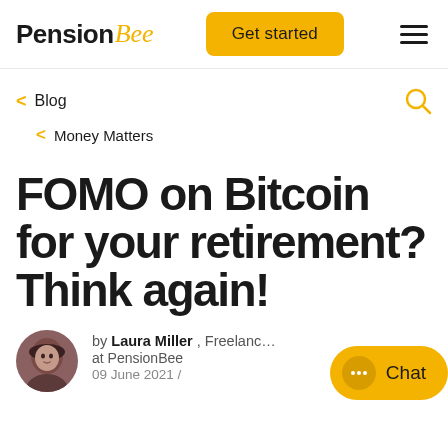PensionBee | Get started
< Blog
< Money Matters
FOMO on Bitcoin for your retirement? Think again!
by Laura Miller , Freelance at PensionBee 09 June 2021 /